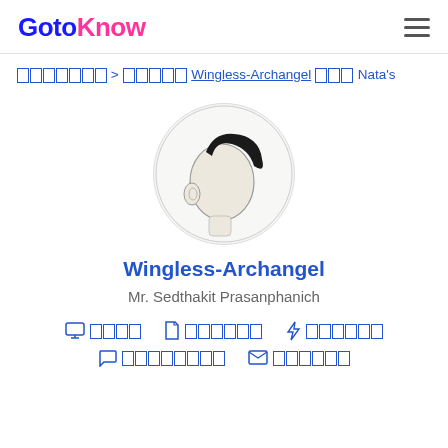GotoKnow
□□□□□□□ > □□□□□ Wingless-Archangel □□□ Nata's
[Figure (illustration): Circle avatar portrait of a person shown from behind/side, pencil/sketch style, black hair, white background]
Wingless-Archangel
Mr. Sedthakit Prasanphanich
□□□□  □□□□□□  □□□□□□  □□□□□□□□  □□□□□□